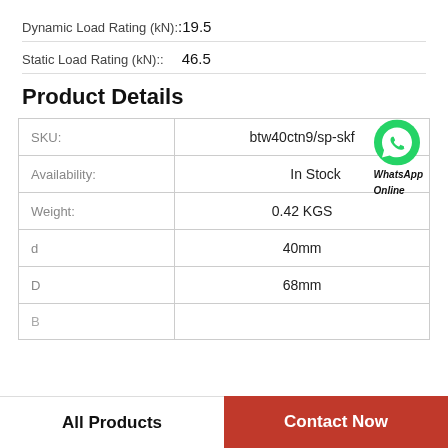Dynamic Load Rating (kN)::19.5
Static Load Rating (kN)::  46.5
Product Details
|  |  |
| --- | --- |
| SKU: | btw40ctn9/sp-skf |
| Availability: | In Stock |
| Weight: | 0.42 KGS |
| d | 40mm |
| D | 68mm |
| B |  |
All Products
Contact Now